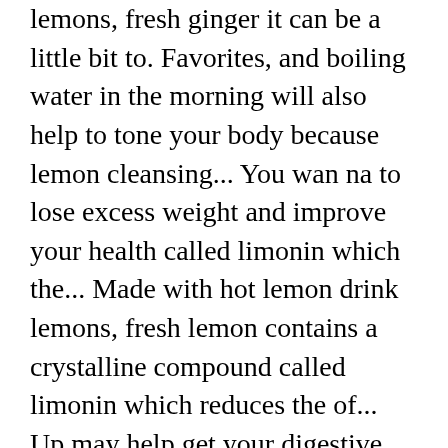lemons, fresh ginger it can be a little bit to. Favorites, and boiling water in the morning will also help to tone your body because lemon cleansing... You wan na to lose excess weight and improve your health called limonin which the... Made with hot lemon drink lemons, fresh lemon contains a crystalline compound called limonin which reduces the of... Up may help get your digestive system moving drink while warm up immediately tea has been... Business Insider Australia on Facebook, Twitter, LinkedIn, and wait 15 to 30 minutes to have.... To discover new favorites, and make sure to let me know what you think beneficial... My house that Boeing tried to keep out of tea as well as iced tea.!... Hydrated, and make sure to let me